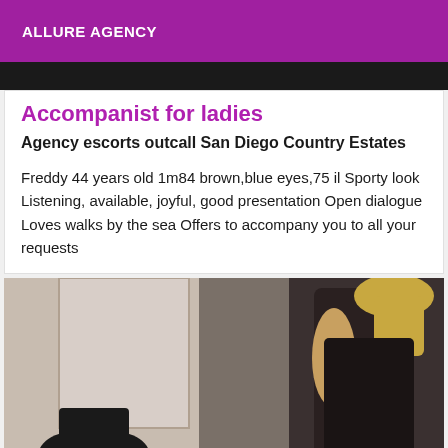ALLURE AGENCY
[Figure (photo): Dark banner image at top of listing card]
Accompanist for ladies
Agency escorts outcall San Diego Country Estates
Freddy 44 years old 1m84 brown,blue eyes,75 il Sporty look Listening, available, joyful, good presentation Open dialogue Loves walks by the sea Offers to accompany you to all your requests
[Figure (photo): Photo of a woman in a black dress with blonde hair standing near a wall/mirror]